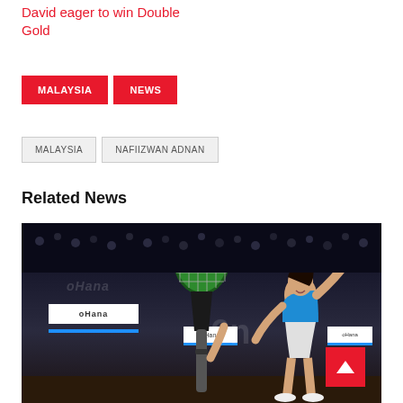David eager to win Double Gold
MALAYSIA  NEWS
MALAYSIA  NAFIIZWAN ADNAN
Related News
[Figure (photo): Female squash player in blue top reaching up with racket on an indoor squash court with ohana sponsor banners visible]